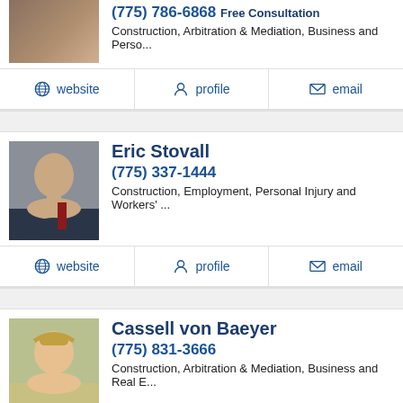(775) 786-6868 Free Consultation
Construction, Arbitration & Mediation, Business and Perso...
website  profile  email
Eric Stovall
(775) 337-1444
Construction, Employment, Personal Injury and Workers' ...
website  profile  email
Cassell von Baeyer
(775) 831-3666
Construction, Arbitration & Mediation, Business and Real E...
website  profile  email